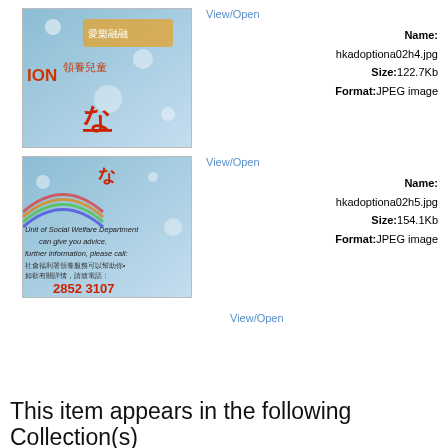View/Open
[Figure (photo): Thumbnail image of hkadoptiona02h4.jpg - blue sky background with Chinese characters and logos]
Name: hkadoptiona02h4.jpg Size: 122.7Kb Format: JPEG image
View/Open
[Figure (photo): Thumbnail image of hkadoptiona02h5.jpg - blue background with text about Social Welfare Department and phone number 2852 3107]
Name: hkadoptiona02h5.jpg Size: 154.1Kb Format: JPEG image
View/Open
This item appears in the following Collection(s)